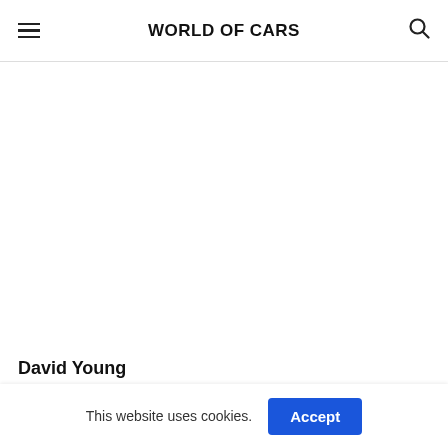WORLD OF CARS
David Young
RM: Michael evidently had some conversations a
This website uses cookies.  Accept